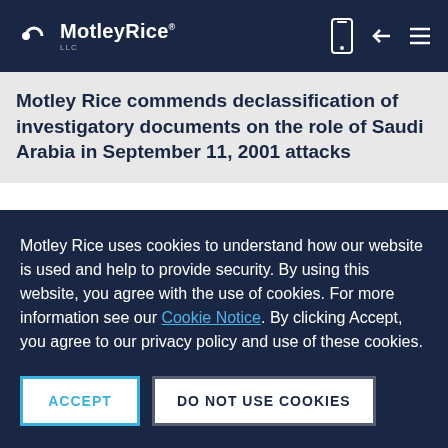MotleyRice LLC — navigation bar with logo, phone icon, back arrow, and menu icon
Motley Rice commends declassification of investigatory documents on the role of Saudi Arabia in September 11, 2001 attacks
Motley Rice uses cookies to understand how our website is used and help to provide security. By using this website, you agree with the use of cookies. For more information see our Cookie Notice. By clicking Accept, you agree to our privacy policy and use of these cookies.
ACCEPT | DO NOT USE COOKIES